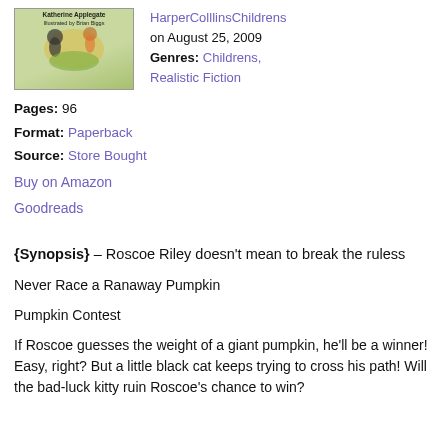[Figure (illustration): Book cover illustration with cartoon characters, Katherine Applegate author name visible]
HarperColllinsChildrens on August 25, 2009 Genres: Childrens, Realistic Fiction
Pages: 96
Format: Paperback
Source: Store Bought
Buy on Amazon
Goodreads
{Synopsis} – Roscoe Riley doesn't mean to break the ruless
Never Race a Ranaway Pumpkin
Pumpkin Contest
If Roscoe guesses the weight of a giant pumpkin, he'll be a winner! Easy, right? But a little black cat keeps trying to cross his path! Will the bad-luck kitty ruin Roscoe's chance to win?